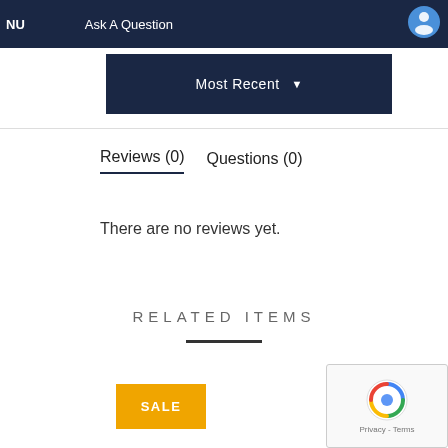NU  Ask A Question
Most Recent ▼
Reviews (0)  Questions (0)
There are no reviews yet.
RELATED ITEMS
SALE
[Figure (other): reCAPTCHA widget with spinning logo and Privacy - Terms text]